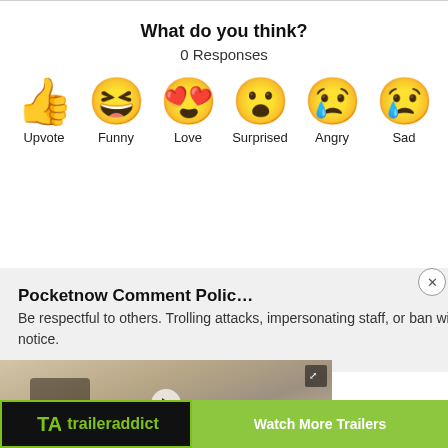What do you think?
0 Responses
[Figure (infographic): Six emoji reaction buttons: Upvote (thumbs up), Funny (laughing face with tongue), Love (heart eyes), Surprised (astonished face), Angry (crying/weeping face), Sad (sad face with tear)]
Pocketnow Comment Polic…
Be respectful to others. Trolling attacks, impersonating staff, or ban without notice.
[Figure (screenshot): Black video player overlay]
[Figure (screenshot): Mini video player thumbnail in bottom left corner]
[Figure (logo): Traileraddict logo bar with Watch More Trailers button]